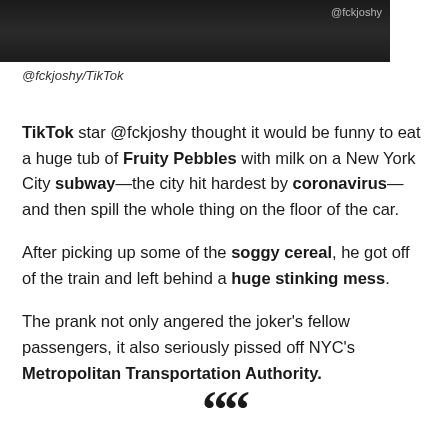[Figure (screenshot): Dark screenshot from TikTok video with @fckjoshy watermark in the upper right corner]
@fckjoshy/TikTok
TikTok star @fckjoshy thought it would be funny to eat a huge tub of Fruity Pebbles with milk on a New York City subway—the city hit hardest by coronavirus—and then spill the whole thing on the floor of the car.
After picking up some of the soggy cereal, he got off of the train and left behind a huge stinking mess.
The prank not only angered the joker's fellow passengers, it also seriously pissed off NYC's Metropolitan Transportation Authority.
““